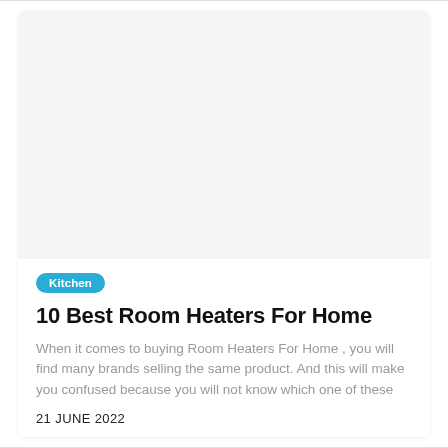[Figure (photo): Large blank/white image placeholder at the top of an article card]
Kitchen
10 Best Room Heaters For Home
When it comes to buying Room Heaters For Home , you will find many brands selling the same product. And this will make you confused because you will not know which one of these
21 JUNE 2022